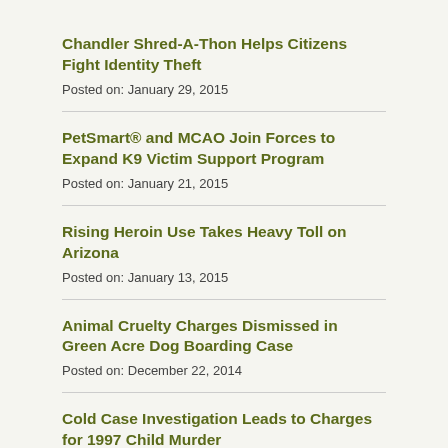Chandler Shred-A-Thon Helps Citizens Fight Identity Theft
Posted on: January 29, 2015
PetSmart® and MCAO Join Forces to Expand K9 Victim Support Program
Posted on: January 21, 2015
Rising Heroin Use Takes Heavy Toll on Arizona
Posted on: January 13, 2015
Animal Cruelty Charges Dismissed in Green Acre Dog Boarding Case
Posted on: December 22, 2014
Cold Case Investigation Leads to Charges for 1997 Child Murder
Posted on: December 19, 2014
Juan Garcia Sentenced for Murder of Two-Year-Old Child